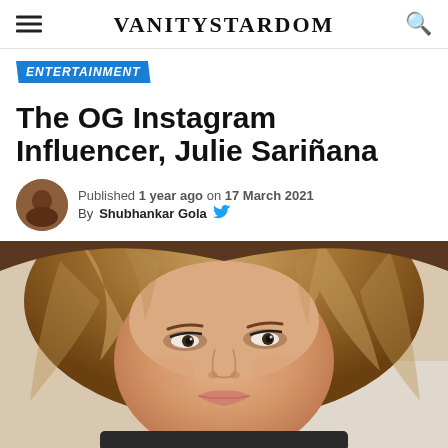VANITYSTARDOM
ENTERTAINMENT
The OG Instagram Influencer, Julie Sariñana
Published 1 year ago on 17 March 2021
By Shubhankar Gola
[Figure (photo): Close-up portrait photo of Julie Sariñana, a woman with highlighted brown hair, wearing makeup, looking slightly upward. The photo is a selfie-style close-up showing her face and hair.]